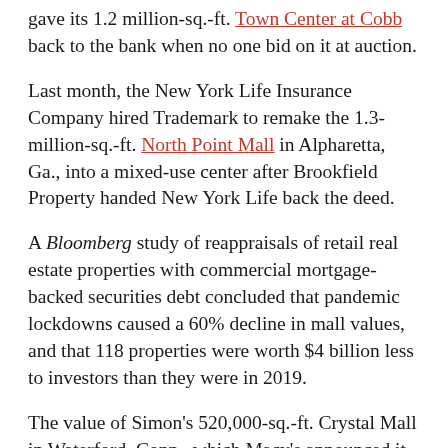gave its 1.2 million-sq.-ft. Town Center at Cobb back to the bank when no one bid on it at auction.
Last month, the New York Life Insurance Company hired Trademark to remake the 1.3-million-sq.-ft. North Point Mall in Alpharetta, Ga., into a mixed-use center after Brookfield Property handed New York Life back the deed.
A Bloomberg study of reappraisals of retail real estate properties with commercial mortgage-backed securities debt concluded that pandemic lockdowns caused a 60% decline in mall values, and that 118 properties were worth $4 billion less to investors than they were in 2019.
The value of Simon's 520,000-sq.-ft. Crystal Mall in Waterford, Conn., which Macy's announced it was leaving in January, dropped 88% from a 2012 valuation